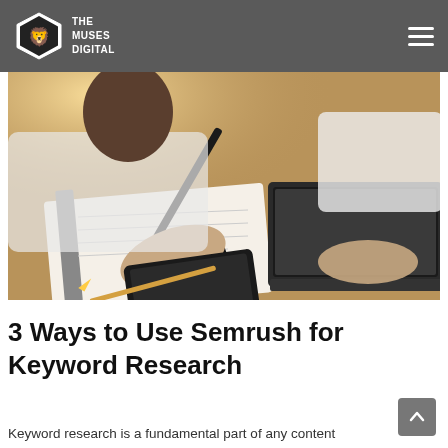THE MUSES DIGITAL
[Figure (photo): Two people working at a desk — one writing in a notebook with a pen, another typing on a laptop. A tablet is also visible on the wooden desk surface.]
3 Ways to Use Semrush for Keyword Research
Keyword research is a fundamental part of any content